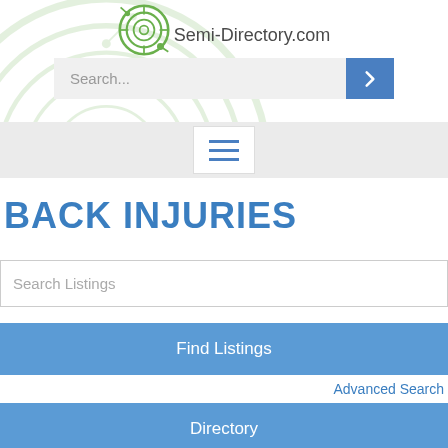Semi-Directory.com
[Figure (screenshot): Search bar with placeholder 'Search...' and blue arrow button]
[Figure (screenshot): Navigation hamburger menu button with three blue horizontal lines]
BACK INJURIES
Search Listings
Find Listings
Advanced Search
Directory